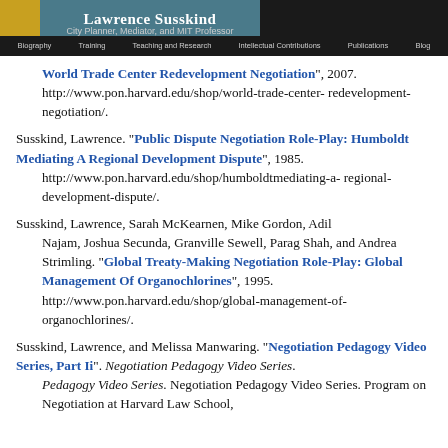Lawrence Susskind | City Planner, Mediator, and MIT Professor
World Trade Center Redevelopment Negotiation", 2007. http://www.pon.harvard.edu/shop/world-trade-center-redevelopment-negotiation/.
Susskind, Lawrence. "Public Dispute Negotiation Role-Play: Humboldt Mediating A Regional Development Dispute", 1985. http://www.pon.harvard.edu/shop/humboldtmediating-a-regional-development-dispute/.
Susskind, Lawrence, Sarah McKearnen, Mike Gordon, Adil Najam, Joshua Secunda, Granville Sewell, Parag Shah, and Andrea Strimling. "Global Treaty-Making Negotiation Role-Play: Global Management Of Organochlorines", 1995. http://www.pon.harvard.edu/shop/global-management-of-organochlorines/.
Susskind, Lawrence, and Melissa Manwaring. "Negotiation Pedagogy Video Series, Part Ii". Negotiation Pedagogy Video Series. Negotiation Pedagogy Video Series. Program on Negotiation at Harvard Law School,